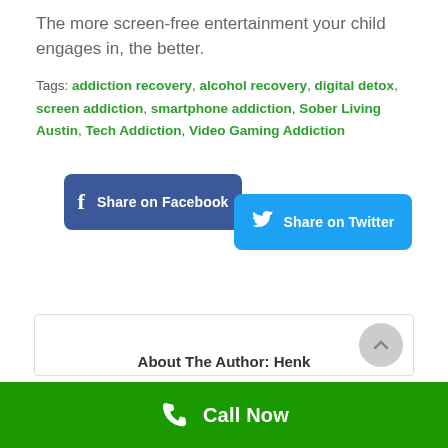The more screen-free entertainment your child engages in, the better.
Tags: addiction recovery, alcohol recovery, digital detox, screen addiction, smartphone addiction, Sober Living Austin, Tech Addiction, Video Gaming Addiction
[Figure (other): Share on Facebook and Share on Twitter buttons]
About The Author: Henk
Call Now